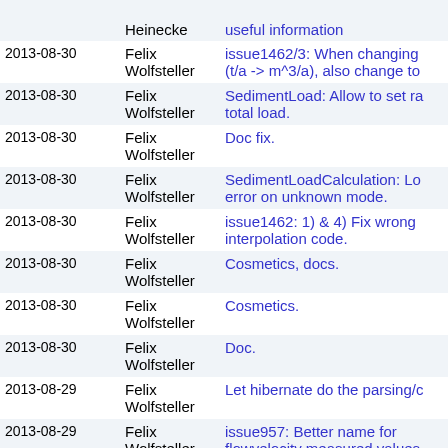| Date | Author | Message |
| --- | --- | --- |
| 2013-08-30 | Felix Wolfsteller | issue1462/3: When changing (t/a -> m^3/a), also change to |
| 2013-08-30 | Felix Wolfsteller | SedimentLoad: Allow to set ra total load. |
| 2013-08-30 | Felix Wolfsteller | Doc fix. |
| 2013-08-30 | Felix Wolfsteller | SedimentLoadCalculation: Lo error on unknown mode. |
| 2013-08-30 | Felix Wolfsteller | issue1462: 1) & 4) Fix wrong interpolation code. |
| 2013-08-30 | Felix Wolfsteller | Cosmetics, docs. |
| 2013-08-30 | Felix Wolfsteller | Cosmetics. |
| 2013-08-30 | Felix Wolfsteller | Doc. |
| 2013-08-29 | Felix Wolfsteller | Let hibernate do the parsing/c |
| 2013-08-29 | Felix Wolfsteller | issue957: Better name for flowvelocity measured values |
| 2013-08-29 | Felix Wolfsteller | Assign theme to flowvelocitymeasurementval |
| 2013-08-29 | Felix Wolfsteller | Slightly better name for flowvelocitymeasurementval |
|  |  | Loading... |